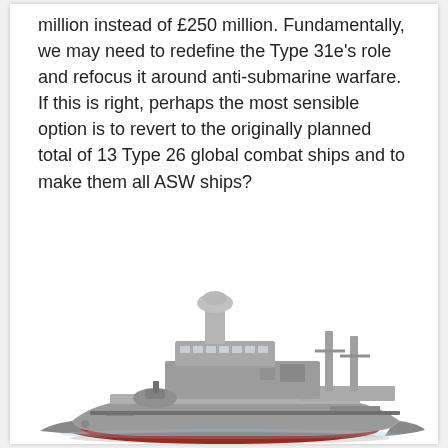million instead of £250 million. Fundamentally, we may need to redefine the Type 31e's role and refocus it around anti-submarine warfare. If this is right, perhaps the most sensible option is to revert to the originally planned total of 13 Type 26 global combat ships and to make them all ASW ships?
[Figure (photo): A 3D rendered model of a Type 26 global combat ship (frigate), shown in a three-quarter view from the front-left. The ship is grey with a red hull bottom, featuring radar masts, turrets, and detailed superstructure.]